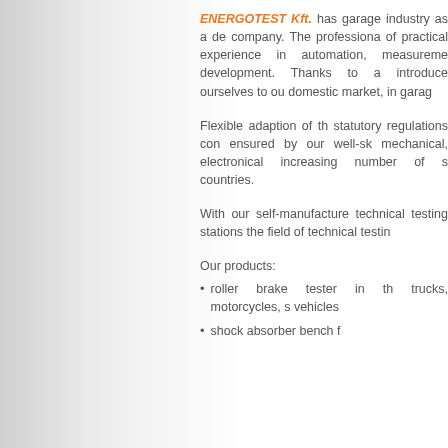ENERGOTEST Kft. has garage industry as a de company. The professiona of practical experience in automation, measureme development. Thanks to a introduce ourselves to ou domestic market, in garag
Flexible adaption of th statutory regulations con ensured by our well-sk mechanical, electronical increasing number of s countries.
With our self-manufacture technical testing stations the field of technical testin
Our products:
roller brake tester in th trucks, motorcycles, s vehicles
shock absorber bench f